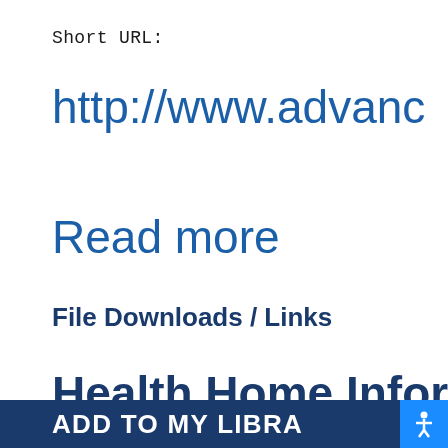Short URL:
http://www.advanc
Read more
File Downloads / Links
Health Home Inform
ADD TO MY LIBRA